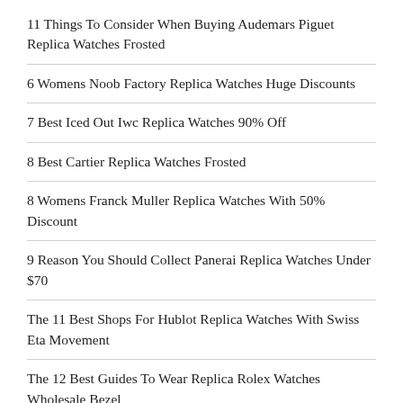11 Things To Consider When Buying Audemars Piguet Replica Watches Frosted
6 Womens Noob Factory Replica Watches Huge Discounts
7 Best Iced Out Iwc Replica Watches 90% Off
8 Best Cartier Replica Watches Frosted
8 Womens Franck Muller Replica Watches With 50% Discount
9 Reason You Should Collect Panerai Replica Watches Under $70
The 11 Best Shops For Hublot Replica Watches With Swiss Eta Movement
The 12 Best Guides To Wear Replica Rolex Watches Wholesale Bezel